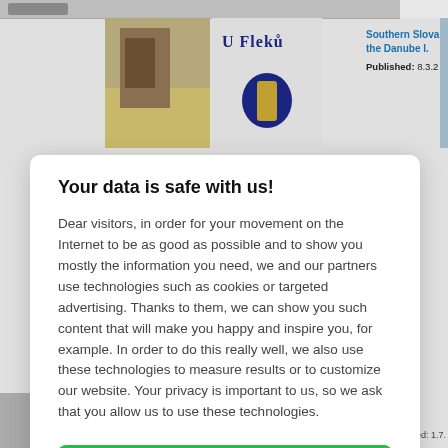[Figure (screenshot): Background website with images and partial text visible behind a cookie consent modal dialog]
Your data is safe with us!
Dear visitors, in order for your movement on the Internet to be as good as possible and to show you mostly the information you need, we and our partners use technologies such as cookies or targeted advertising. Thanks to them, we can show you such content that will make you happy and inspire you, for example. In order to do this really well, we also use these technologies to measure results or to customize our website. Your privacy is important to us, so we ask that you allow us to use these technologies.
Accept
Deny
Set